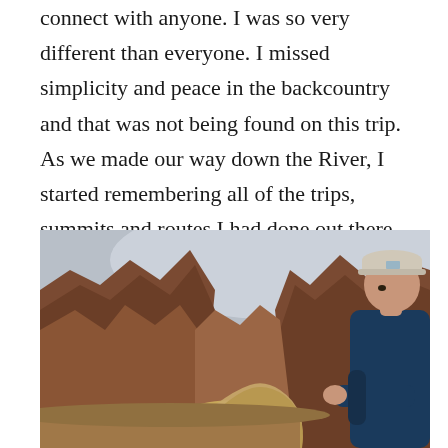connect with anyone. I was so very different than everyone. I missed simplicity and peace in the backcountry and that was not being found on this trip. As we made our way down the River, I started remembering all of the trips, summits and routes I had done out there.
[Figure (photo): A person wearing a cap and dark blue fleece jacket sits overlooking a dramatic canyon with a winding muddy river (Colorado River in the Grand Canyon) below, surrounded by red and brown canyon walls under an overcast sky.]